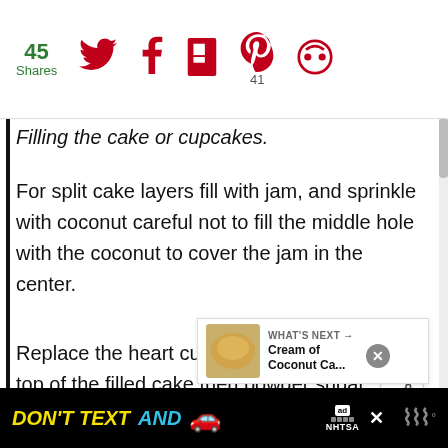45 Shares [social share icons: Twitter, Facebook, Flipboard, Pinterest (41), other]
Filling the cake or cupcakes.
For split cake layers fill with jam, and sprinkle with coconut careful not to fill the middle hole with the coconut to cover the jam in the center.
Replace the heart cut in the center on top of the filled cake then powder sugar on the top of the cake.
For Cupcakes: Bake in Pretty cupcake liners for whatever
[Figure (other): What's Next promotional widget showing Cream of Coconut Ca... thumbnail]
DON'T TEXT AND [car emoji] — ad — NHTSA